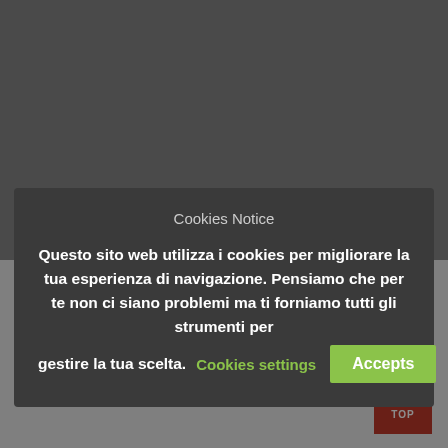[Figure (screenshot): Gray background web page background visible behind a cookie consent modal overlay]
of aggregation. Organizing it while respecting the anti-coronavirus social space measures would go against the very soul of the event. Reluctantly we decided to postpone the races until 2021. Stay tuned! 🇬🇧 We've always
Cookies Notice
Questo sito web utilizza i cookies per migliorare la tua esperienza di navigazione. Pensiamo che per te non ci siano problemi ma ti forniamo tutti gli strumenti per gestire la tua scelta.
Cookies settings
Accepts